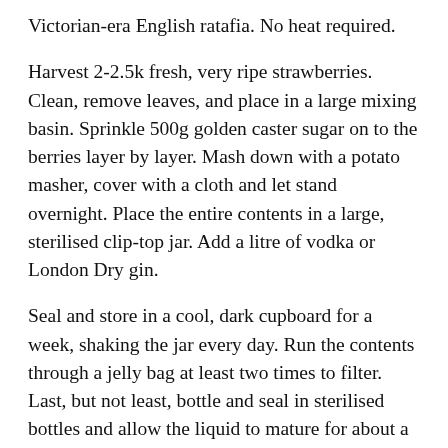Victorian-era English ratafia. No heat required.
Harvest 2-2.5k fresh, very ripe strawberries. Clean, remove leaves, and place in a large mixing basin. Sprinkle 500g golden caster sugar on to the berries layer by layer. Mash down with a potato masher, cover with a cloth and let stand overnight. Place the entire contents in a large, sterilised clip-top jar. Add a litre of vodka or London Dry gin.
Seal and store in a cool, dark cupboard for a week, shaking the jar every day. Run the contents through a jelly bag at least two times to filter. Last, but not least, bottle and seal in sterilised bottles and allow the liquid to mature for about a month. The resulting liqueur is a lovely digestif to serve in cordial glasses as an accompaniment to a